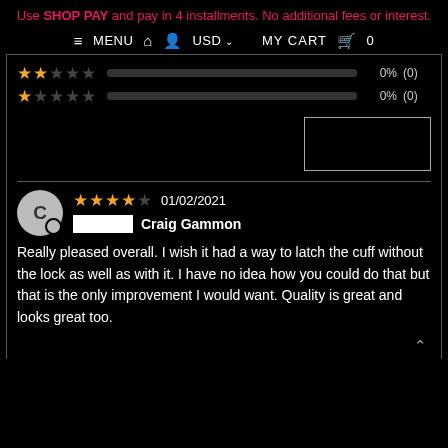Use SHOP PAY and pay in 4 installments. No additional fees or interest.
≡ MENU  🏠  👤  USD ∨  MY CART  🛍  0
[Figure (other): 2-star rating row with 0% (0) and bar]
[Figure (other): 1-star rating row with 0% (0) and bar]
[Figure (other): Write a review button (empty white rectangle)]
[Figure (other): 4-star review by Craig Gammon dated 01/02/2021 with avatar C]
Really pleased overall. I wish it had a way to latch the cuff without the lock as well as with it. I have no idea how you could do that but that is the only improvement I would want. Quality is great and looks great too.